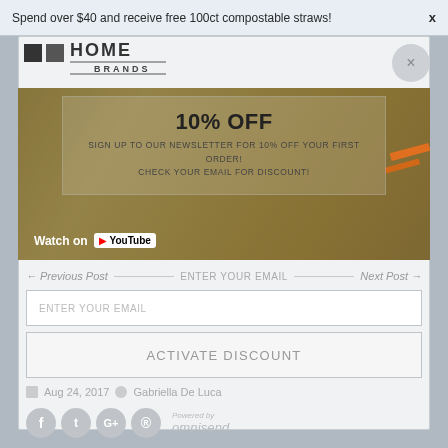Spend over $40 and receive free 100ct compostable straws!
[Figure (logo): IA Home Brands logo with two squares and 'HOME BRANDS' text]
[Figure (screenshot): Video thumbnail with YouTube 'Watch on YouTube' overlay and semi-transparent newsletter popup showing '10% OFF', 'SIGN UP TO OUR NEWSLETTER FOR 10% OFF YOUR FIRST ORDER!', 'CHECK YOUR EMAIL FOR DISCOUNT!']
← Previous Post   ENTER YOUR EMAIL   Next Post →
ENTER YOUR EMAIL
ACTIVATE DISCOUNT
Aug 24, 2017   Gabriella De Luca
Powered by omnisend